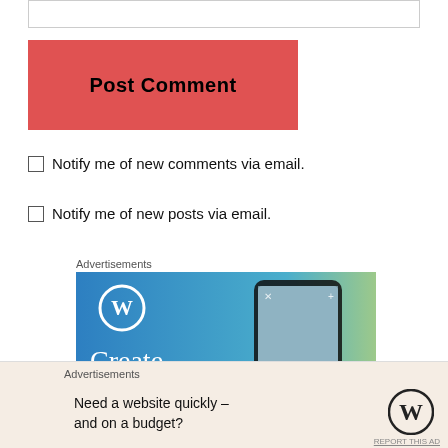[Figure (screenshot): Top input text field (comment box)]
[Figure (screenshot): Red Post Comment button]
Notify me of new comments via email.
Notify me of new posts via email.
Advertisements
[Figure (screenshot): WordPress advertisement banner showing 'Create immersive' text with a phone showing 'VISITING SKOGAFOSS']
[Figure (screenshot): Close (X) button]
Advertisements
Need a website quickly – and on a budget?
[Figure (logo): WordPress logo (W in circle)]
REPORT THIS AD